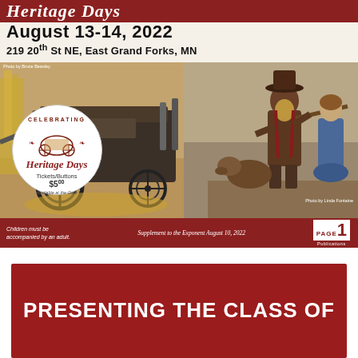Heritage Days
August 13-14, 2022
219 20th St NE, East Grand Forks, MN
[Figure (photo): Cover image for Heritage Days 2022 featuring a threshing machine and carved wooden pioneer figures, with a circular badge showing 'Celebrating Heritage Days Tickets/Buttons $5.00 Available at the Gate']
Photo by Bruce Beasley
Photo by Linda Fontaine
Children must be accompanied by an adult.
Supplement to the Exponent August 10, 2022
PRESENTING THE CLASS OF